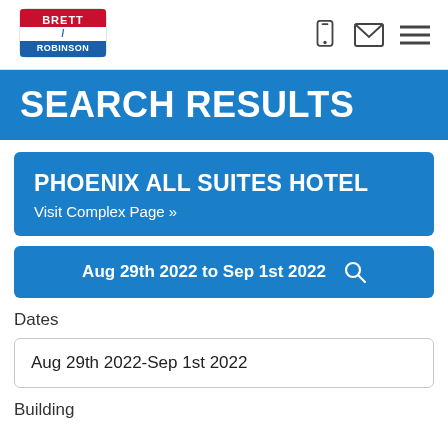[Figure (logo): Brett/Robinson logo — red and blue rectangular badge with white text]
SEARCH RESULTS
PHOENIX ALL SUITES HOTEL
Visit Complex Page »
Aug 29th 2022 to Sep 1st 2022
Dates
Aug 29th 2022-Sep 1st 2022
Building